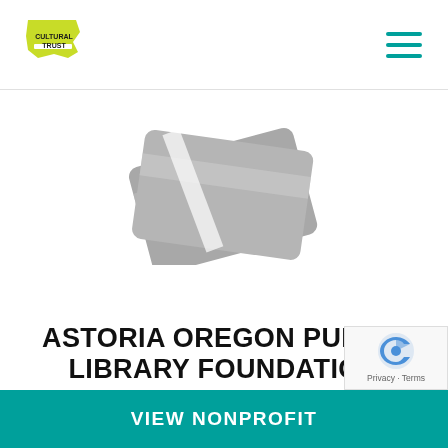Oregon Cultural Trust
[Figure (illustration): Gray stylized icon of overlapping angled credit card or library card shapes on white background]
ASTORIA OREGON PUBLIC LIBRARY FOUNDATION
The Foundation will raise monetary and non-monetary resources to support the renovation of the Astoria Public Library. The Foundation will engage in community outreach to 1) communicate the...
VIEW NONPROFIT